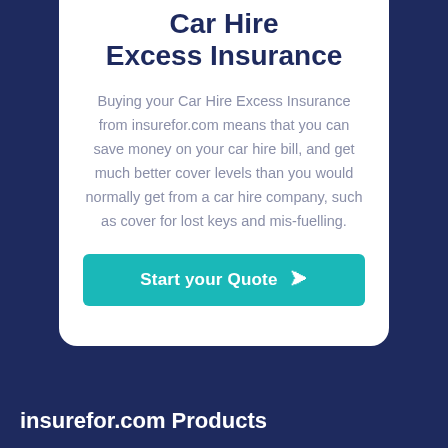Car Hire Excess Insurance
Buying your Car Hire Excess Insurance from insurefor.com means that you can save money on your car hire bill, and get much better cover levels than you would normally get from a car hire company, such as cover for lost keys and mis-fuelling.
[Figure (other): Teal button with white text reading 'Start your Quote' and a circled right-arrow icon]
insurefor.com Products